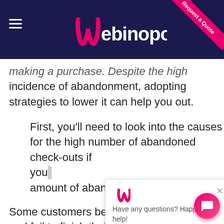[Figure (screenshot): Webinopoly website header with dark navy background, pink W logo, hamburger menu icon on left, and 'Request a Quote' pink diagonal ribbon in top right corner]
making a purchase. Despite the high incidence of abandonment, adopting strategies to lower it can help you out.
First, you'll need to look into the causes for the high number of abandoned check-outs if you want to lower the amount of abandonment.
Some customers become sidetracked and fail to finish their transactions. Meanwhile, other customers may just
[Figure (screenshot): Chat popup widget showing Webinopoly logo and text 'Have any questions? Happy to help!' with X close button]
[Figure (other): Pink circular chat button in bottom right corner]